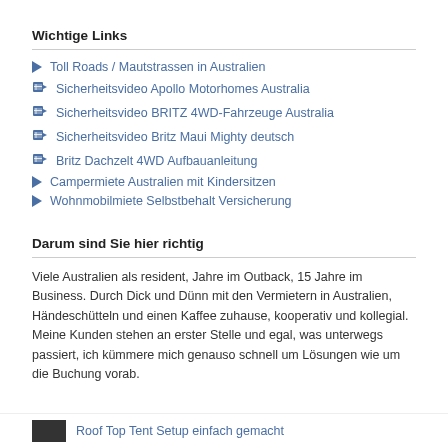Wichtige Links
Toll Roads / Mautstrassen in Australien
Sicherheitsvideo Apollo Motorhomes Australia
Sicherheitsvideo BRITZ 4WD-Fahrzeuge Australia
Sicherheitsvideo Britz Maui Mighty deutsch
Britz Dachzelt 4WD Aufbauanleitung
Campermiete Australien mit Kindersitzen
Wohnmobilmiete Selbstbehalt Versicherung
Darum sind Sie hier richtig
Viele Australien als resident, Jahre im Outback, 15 Jahre im Business. Durch Dick und Dünn mit den Vermietern in Australien, Händeschütteln und einen Kaffee zuhause, kooperativ und kollegial. Meine Kunden stehen an erster Stelle und egal, was unterwegs passiert, ich kümmere mich genauso schnell um Lösungen wie um die Buchung vorab.
Roof Top Tent Setup einfach gemacht